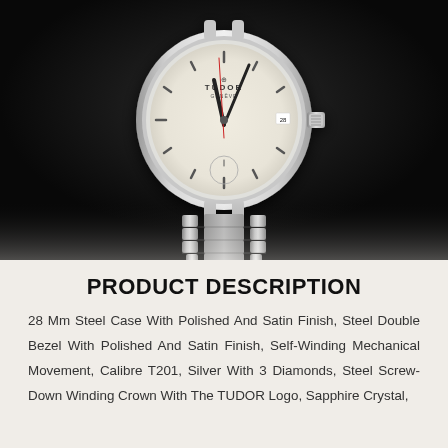[Figure (photo): Tudor watch with silver/white dial, steel case and bracelet, shown on a dark black background. The watch has a date complication and the TUDOR logo on the dial. The steel bracelet is visible below the case.]
PRODUCT DESCRIPTION
28 Mm Steel Case With Polished And Satin Finish, Steel Double Bezel With Polished And Satin Finish, Self-Winding Mechanical Movement, Calibre T201, Silver With 3 Diamonds, Steel Screw-Down Winding Crown With The TUDOR Logo, Sapphire Crystal,